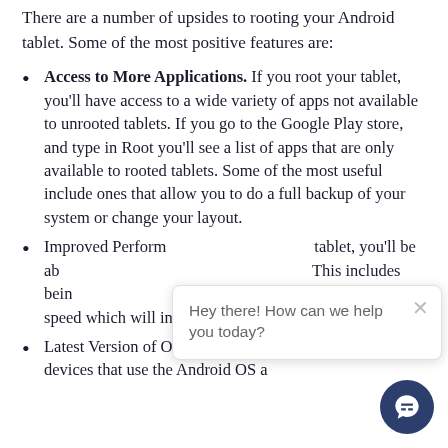There are a number of upsides to rooting your Android tablet. Some of the most positive features are:
Access to More Applications. If you root your tablet, you'll have access to a wide variety of apps not available to unrooted tablets. If you go to the Google Play store, and type in Root you'll see a list of apps that are only available to rooted tablets. Some of the most useful include ones that allow you to do a full backup of your system or change your layout.
Improved Performance. By rooting your tablet, you'll be able to manage your system's resources. This includes being able to make apps faster or decrease processor speed which will increase battery life.
Latest Version of OS. Companies that create tablets and devices that use the Android OS are sometimes forced to update the...